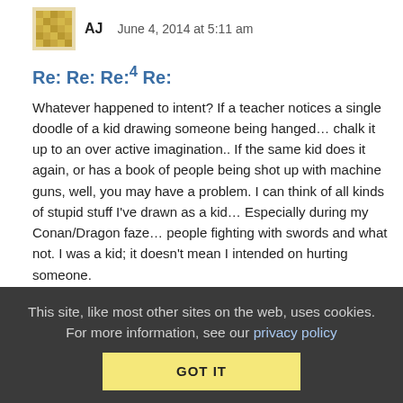AJ   June 4, 2014 at 5:11 am
Re: Re: Re:4 Re:
Whatever happened to intent? If a teacher notices a single doodle of a kid drawing someone being hanged… chalk it up to an over active imagination.. If the same kid does it again, or has a book of people being shot up with machine guns, well, you may have a problem. I can think of all kinds of stupid stuff I've drawn as a kid… Especially during my Conan/Dragon faze… people fighting with swords and what not. I was a kid; it doesn't mean I intended on hurting someone.
Our law takes serious measure of intent. Guy walks out of the store with a pair of unpaid sunglasses on his head. Store clerk calls police, they show up. Guy acts surprised to find them on
This site, like most other sites on the web, uses cookies. For more information, see our privacy policy
GOT IT